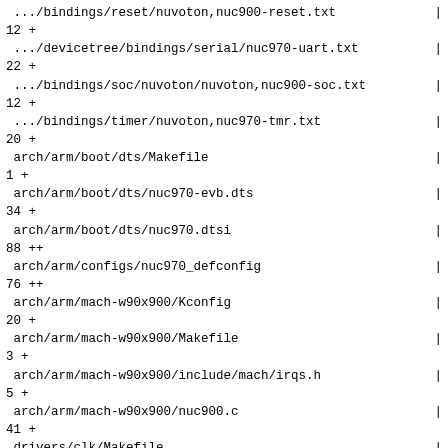.../bindings/reset/nuvoton,nuc900-reset.txt | 12 +
.../devicetree/bindings/serial/nuc970-uart.txt | 22 +
.../bindings/soc/nuvoton/nuvoton,nuc900-soc.txt | 12 +
.../bindings/timer/nuvoton,nuc970-tmr.txt | 20 +
arch/arm/boot/dts/Makefile | 1 +
arch/arm/boot/dts/nuc970-evb.dts | 34 +
arch/arm/boot/dts/nuc970.dtsi | 88 ++
arch/arm/configs/nuc970_defconfig | 76 ++
arch/arm/mach-w90x900/Kconfig | 20 +
arch/arm/mach-w90x900/Makefile | 3 +
arch/arm/mach-w90x900/include/mach/irqs.h | 5 +
arch/arm/mach-w90x900/nuc900.c | 41 +
drivers/clk/Makefile | 1 +
drivers/clk/nuc900/Makefile | 6 +
drivers/clk/nuc900/clk-apll.c | 168 ++++